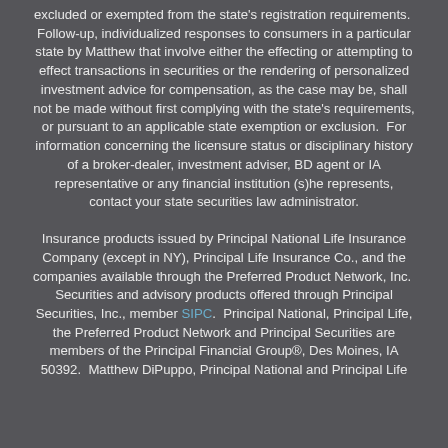excluded or exempted from the state's registration requirements.  Follow-up, individualized responses to consumers in a particular state by Matthew that involve either the effecting or attempting to effect transactions in securities or the rendering of personalized investment advice for compensation, as the case may be, shall not be made without first complying with the state's requirements, or pursuant to an applicable state exemption or exclusion.  For information concerning the licensure status or disciplinary history of a broker-dealer, investment adviser, BD agent or IA representative or any financial institution (s)he represents, contact your state securities law administrator.
Insurance products issued by Principal National Life Insurance Company (except in NY), Principal Life Insurance Co., and the companies available through the Preferred Product Network, Inc.  Securities and advisory products offered through Principal Securities, Inc., member SIPC.  Principal National, Principal Life, the Preferred Product Network and Principal Securities are members of the Principal Financial Group®, Des Moines, IA 50392.  Matthew DiPuppo, Principal National and Principal Life